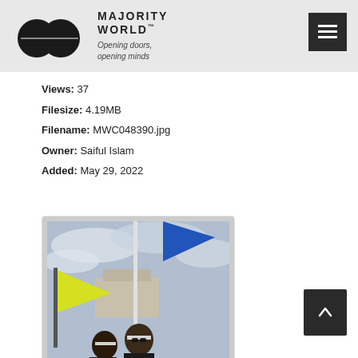MAJORITY WORLD™ — Opening doors, opening minds
Views: 37
Filesize: 4.19MB
Filename: MWC048390.jpg
Owner: Saiful Islam
Added: May 29, 2022
[Figure (photo): Protest scene with people wearing headbands and carrying flags including a yellow-green Sri Lanka flag and a blue flag, with a flagpole, cloudy sky background and a classical building in the background.]